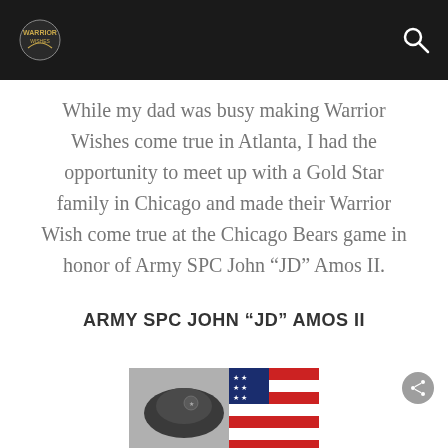[Logo] [Search icon]
While my dad was busy making Warrior Wishes come true in Atlanta, I had the opportunity to meet up with a Gold Star family in Chicago and made their Warrior Wish come true at the Chicago Bears game in honor of Army SPC John “JD” Amos II.
ARMY SPC JOHN “JD” AMOS II
[Figure (photo): Partial photo of a folded American flag with a military item, partially visible at bottom of page]